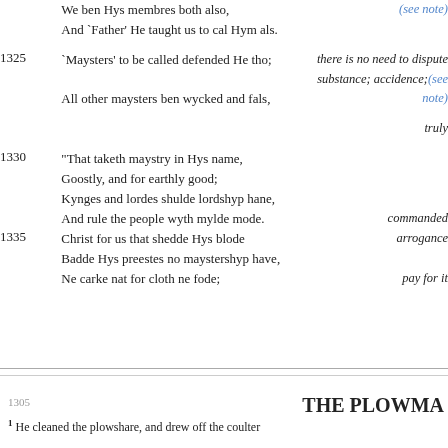We ben Hys membres both also,
And `Father' He taught us to cal Hym als.
1325  `Maysters' to be called defended He tho; — there is no need to dispute substance; accidence;(see note)
All other maysters ben wycked and fals,
truly
1330  "That taketh maystry in Hys name, Goostly, and for earthly good; Kynges and lordes shulde lordshyp hane, And rule the people wyth mylde mode. — commanded
1335  Christ for us that shedde Hys blode — arrogance
Badde Hys preestes no maystershyp have,
Ne carke nat for cloth ne fode; — pay for it
THE PLOWMA
1 He cleaned the plowshare, and drew off the coulter